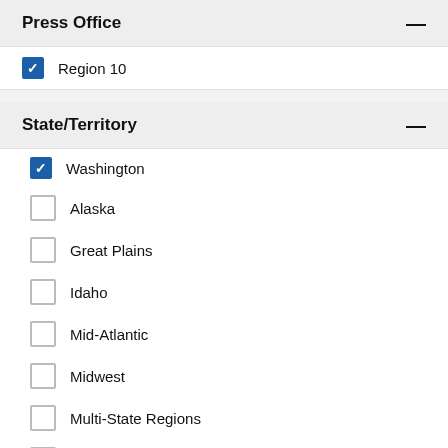Press Office
Region 10 (checked)
State/Territory
Washington (checked)
Alaska
Great Plains
Idaho
Mid-Atlantic
Midwest
Multi-State Regions
Northeast